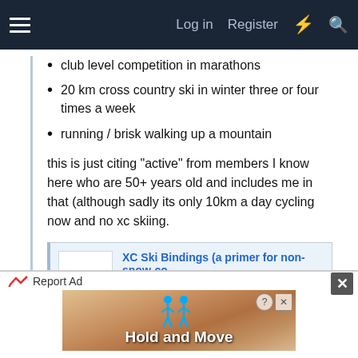Log in  Register
club level competition in marathons
20 km cross country ski in winter three or four times a week
running / brisk walking up a mountain
this is just citing "active" from members I know here who are 50+ years old and includes me in that (although sadly its only 10km a day cycling now and no xc skiing.
[Figure (screenshot): Link card preview for XC Ski Bindings blog post showing a cross-country skier silhouette, title 'XC Ski Bindings (a primer for non-snow-co...', description text, and cjeastwd.blogspot.com URL with Blogger icon]
Report Ad   Hold and Move